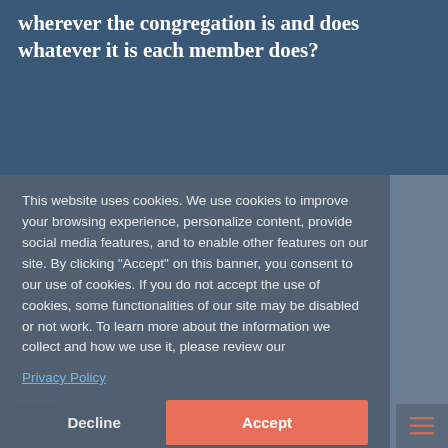wherever the congregation is and does whatever it is each member does?
REFERENCES
Isaiah 5:1-7
Psalm 80:1-2, 8-19 (UMH 801)
Hebrews 11:29-12:2
Luke 12:49-56
COLORS
Green
This website uses cookies. We use cookies to improve your browsing experience, personalize content, provide social media features, and to enable other features on our site. By clicking "Accept" on this banner, you consent to our use of cookies. If you do not accept the use of cookies, some functionalities of our site may be disabled or not work. To learn more about the information we collect and how we use it, please review our Privacy Policy
BROWSE SECTIONS